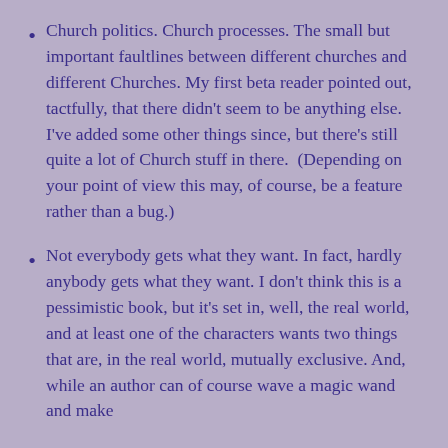Church politics. Church processes. The small but important faultlines between different churches and different Churches. My first beta reader pointed out, tactfully, that there didn't seem to be anything else. I've added some other things since, but there's still quite a lot of Church stuff in there.  (Depending on your point of view this may, of course, be a feature rather than a bug.)
Not everybody gets what they want. In fact, hardly anybody gets what they want. I don't think this is a pessimistic book, but it's set in, well, the real world, and at least one of the characters wants two things that are, in the real world, mutually exclusive. And, while an author can of course wave a magic wand and make